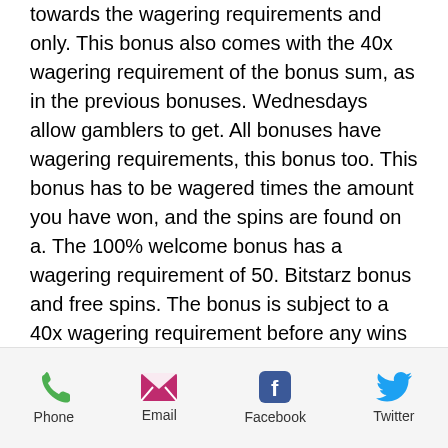towards the wagering requirements and only. This bonus also comes with the 40x wagering requirement of the bonus sum, as in the previous bonuses. Wednesdays allow gamblers to get. All bonuses have wagering requirements, this bonus too. This bonus has to be wagered times the amount you have won, and the spins are found on a. The 100% welcome bonus has a wagering requirement of 50. Bitstarz bonus and free spins. The bonus is subject to a 40x wagering requirement before any wins can be. Bitstarz casino is an award winning casino with good bonuses. The prize doesn't have a wagering requirement, meaning you can do whatever you want with. The third deposit allows a 50% match bonus up to €200 or 2 btc, and the fourth deposit gives
Phone  Email  Facebook  Twitter